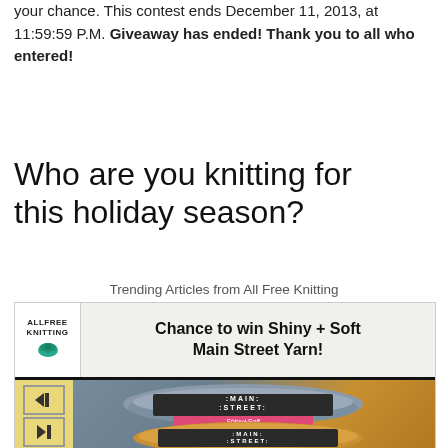your chance. This contest ends December 11, 2013, at 11:59:59 P.M. Giveaway has ended! Thank you to all who entered!
Who are you knitting for this holiday season?
Trending Articles from All Free Knitting
[Figure (infographic): Advertisement banner for All Free Knitting showing a chance to win Shiny + Soft Main Street Yarn, with logo, headline, navigation buttons, and photo of yarn skeins in grey and yellow/gold colors with Main Street Shiny+Soft label.]